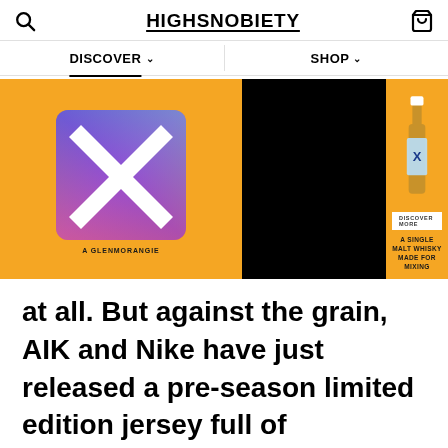HIGHSNOBIETY
[Figure (screenshot): Highsnobiety website navigation bar with DISCOVER and SHOP menu items]
[Figure (infographic): Glenmorangie X advertisement banner — orange background with colorful X logo on the left, black center panel, whisky bottle and 'DISCOVER MORE' button with 'A SINGLE MALT WHISKY MADE FOR MIXING' text on the right]
at all. But against the grain, AIK and Nike have just released a pre-season limited edition jersey full of meaningful storytelling, all wrapped in a layer of elegant drip.